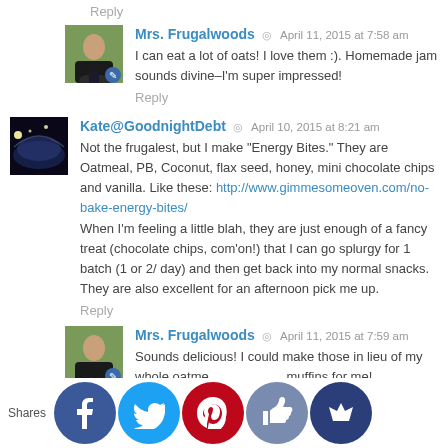Reply
Mrs. Frugalwoods  ·  April 11, 2015 at 7:58 am
I can eat a lot of oats! I love them :). Homemade jam sounds divine–I'm super impressed!
Reply
Kate@GoodnightDebt  ·  April 10, 2015 at 8:21 am
Not the frugalest, but I make "Energy Bites." They are Oatmeal, PB, Coconut, flax seed, honey, mini chocolate chips and vanilla. Like these: http://www.gimmesomeoven.com/no-bake-energy-bites/
When I'm feeling a little blah, they are just enough of a fancy treat (chocolate chips, com'on!) that I can go splurgy for 1 batch (1 or 2/ day) and then get back into my normal snacks. They are also excellent for an afternoon pick me up.
Reply
Mrs. Frugalwoods  ·  April 11, 2015 at 7:59 am
Sounds delicious! I could make those in lieu of my whole oatmeal muffins for me!
Shares